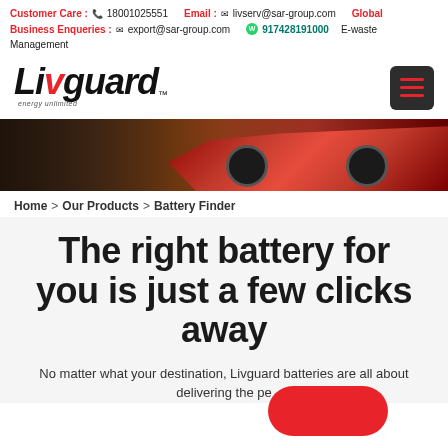Customer Care : 18001025551   Email : livserv@sar-group.com   Global Business Enqueries : export@sar-group.com   917428191000   E-waste Management
[Figure (logo): Livguard logo with red V mark and tagline 'energy unlimited']
[Figure (photo): Hero banner showing red sports car from rear angle on dark background]
Home > Our Products > Battery Finder
The right battery for you is just a few clicks away
No matter what your destination, Livguard batteries are all about delivering the pe